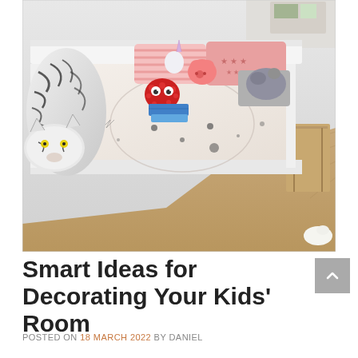[Figure (photo): A children's bedroom with a white platform bed covered in a white duvet with black illustrated bear/animal face pattern. A large stuffed white tiger toy sits on the left side of the bed. Various stuffed animals and colorful pillows (pink striped, pink with stars) are arranged at the headboard. A red fuzzy monster toy and blue folded blankets sit in the middle. Wooden floor visible around the bed.]
Smart Ideas for Decorating Your Kids' Room
POSTED ON 18 MARCH 2022 BY DANIEL